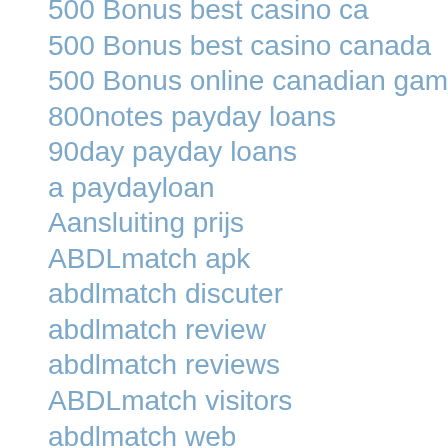500 Bonus best casino ca
500 Bonus best casino canada
500 Bonus online canadian gambling
800notes payday loans
90day payday loans
a paydayloan
Aansluiting prijs
ABDLmatch apk
abdlmatch discuter
abdlmatch review
abdlmatch reviews
ABDLmatch visitors
abdlmatch web
abdlmatch_NL reviews
abdlmatch-inceleme visitors
abdlmatch-overzicht Log in
abenteuer-dating review
aberdeen UK review